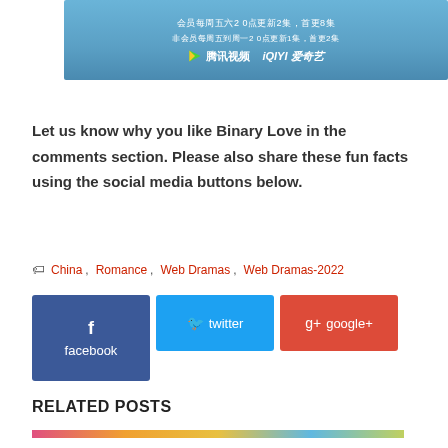[Figure (screenshot): Banner image with Chinese streaming platform logos (Tencent Video and iQIYI) on a blue gradient background with Chinese text about update schedules]
Let us know why you like Binary Love in the comments section. Please also share these fun facts using the social media buttons below.
China , Romance , Web Dramas , Web Dramas-2022
[Figure (screenshot): Social media sharing buttons: Facebook (dark blue), Twitter (light blue), Google+ (red)]
RELATED POSTS
[Figure (screenshot): Partial thumbnail strip of a related post image]